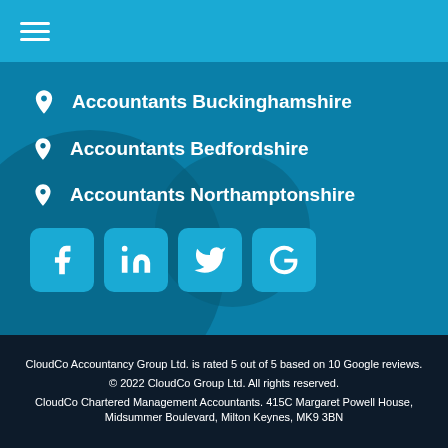≡
Accountants Buckinghamshire
Accountants Bedfordshire
Accountants Northamptonshire
[Figure (infographic): Social media icon buttons for Facebook, LinkedIn, Twitter, and Google]
CloudCo Accountancy Group Ltd. is rated 5 out of 5 based on 10 Google reviews.
© 2022 CloudCo Group Ltd. All rights reserved.
CloudCo Chartered Management Accountants. 415C Margaret Powell House, Midsummer Boulevard, Milton Keynes, MK9 3BN